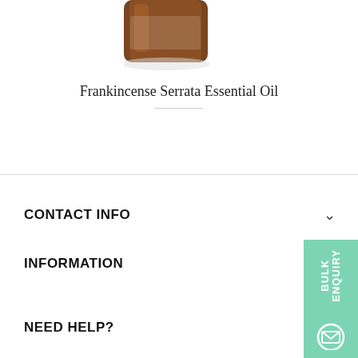[Figure (photo): Product image of Frankincense Serrata Essential Oil amber glass bottle with dropper, partially cropped at top]
Frankincense Serrata Essential Oil
CONTACT INFO
INFORMATION
NEED HELP?
[Figure (other): Green tab on right side with text BULK ENQUIRY and envelope/email icon]